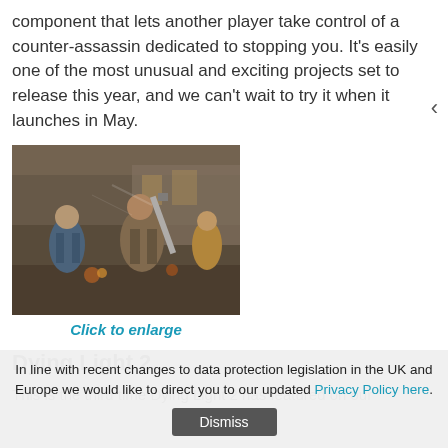component that lets another player take control of a counter-assassin dedicated to stopping you. It’s easily one of the most unusual and exciting projects set to release this year, and we can’t wait to try it when it launches in May.
[Figure (photo): Screenshot from a video game showing characters in a post-apocalyptic action scene]
Click to enlarge
Dying Light 2
This is the third time Dying Light 2 has featured on our
In line with recent changes to data protection legislation in the UK and Europe we would like to direct you to our updated Privacy Policy here.
Dismiss